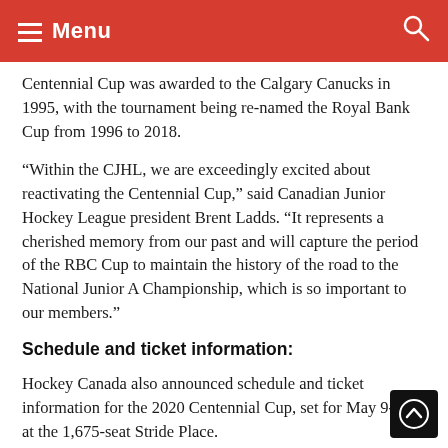Menu
Centennial Cup was awarded to the Calgary Canucks in 1995, with the tournament being re-named the Royal Bank Cup from 1996 to 2018.
“Within the CJHL, we are exceedingly excited about reactivating the Centennial Cup,” said Canadian Junior Hockey League president Brent Ladds. “It represents a cherished memory from our past and will capture the period of the RBC Cup to maintain the history of the road to the National Junior A Championship, which is so important to our members.”
Schedule and ticket information:
Hockey Canada also announced schedule and ticket information for the 2020 Centennial Cup, set for May 9-17 at the 1,675-seat Stride Place.